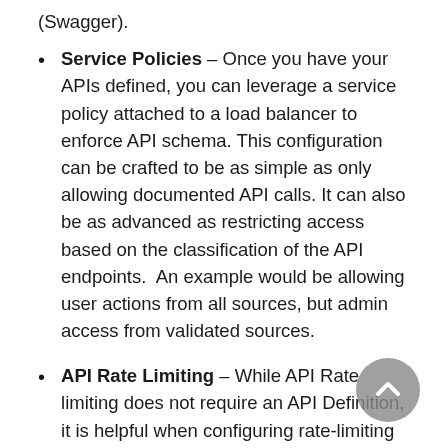(Swagger).
Service Policies – Once you have your APIs defined, you can leverage a service policy attached to a load balancer to enforce API schema. This configuration can be crafted to be as simple as only allowing documented API calls. It can also be as advanced as restricting access based on the classification of the API endpoints. An example would be allowing user actions from all sources, but admin access from validated sources.
API Rate Limiting – While API Rate limiting does not require an API Definition, it is helpful when configuring rate-limiting policies. This can be very useful when you need to ensure that certain, expensive endpoints do not get overrun by traffic. When you have API Definitions loaded into